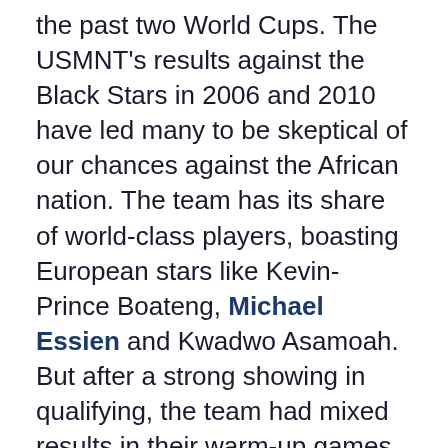the past two World Cups. The USMNT's results against the Black Stars in 2006 and 2010 have led many to be skeptical of our chances against the African nation. The team has its share of world-class players, boasting European stars like Kevin-Prince Boateng, Michael Essien and Kwadwo Asamoah. But after a strong showing in qualifying, the team had mixed results in their warm-up games, losing to the Netherlands before crushing South Korea.
This is not the same USMNT that was twice eliminated by the Black Stars, either. Many of the players who were on the United States' 2010 World Cup squad have improved since the teams last met. Michael Bradley has become a world class midfield presence, while Jozy Altidore has grown as a player on the club and international level. The United States' change in